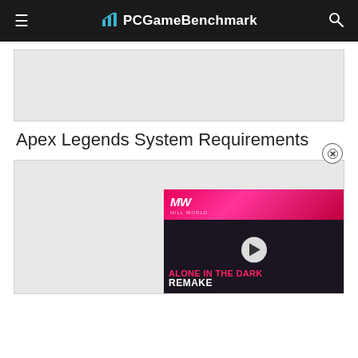PCGameBenchmark
[Figure (other): Advertisement placeholder banner (top)]
Apex Legends System Requirements
[Figure (other): Advertisement placeholder banner (bottom) with embedded video overlay showing 'Alone in the Dark Remake' from MW (Mill World) with play button and video header]